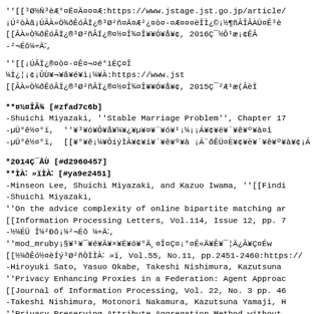''[[³Ø½Ñ³èÆ°¤Ë¤Ä¤¤¤Æ:https://www.jstage.jst.go.jp/article/
¡Ú²òÀã¡ÚÂÀ»Ò¾ðÊóÂÏ¿®³Ø²ñ¤Ã¤Æ²¿¤ò¤·¤Æ¤¤¤ëÎÌ¿©¡½¶ñÂÎÂÀŪ¤Ê³è
[[ÂÀ»Ò¾ðÊóÂÏ¿®³Ø²ñÂÏ¿®¤½¤Î¾¤Î¥¥Ó¥å¥¢, 2016Ç¯½Ô¹æ¡¢ÊÂ
-²¬Éô¼÷Ã˸,
''[[¡ÚÂÏ¿®¤ò¤·¤Ê¤¬¤é°ìÈÇ¤Î¼Ì¿¦¡¢¡ÛÙ¥¬¥â¥é¥ì¡¼¥À:https://www.jst
[[ÂÀ»Ò¾ðÊóÂÏ¿®³Ø²ñÂÏ¿®¤½¤Î¾¤Î¥¥Ó¥å¥¢, 2015Ç¯²Æ¹æ(ÂèÌ
**¤½¤ÎÂ¾ [#zfad7c6b]
-Shuichi Miyazaki, ''Stable Marriage Problem'', Chapter 17
-µÜ°ê½¤°ï,  ''¥³¥ó¥Ô¥å¥¼¥¿¥µ¥¤¥¨¥ó¥¹¡¼¡¡Á¥¢¥ë¥´¥ê¥º¥à¤î
-µÜ°ê½¤°ï,  [[¥°¥ê¡¼¥ÔíýÌÀ¥¢¥í¥´¥ê¥º¥à ¡Á¨ðÊÜ¤È¥¢¥ë¥´¥ê¥º¥à¥¢¡Á:https://
*2014Ç¯ÅÙ [#d2960457]
**ÌÀ˸ »ïÌÀ˸ [#ya9e2451]
-Minseon Lee, Shuichi Miyazaki, and Kazuo Iwama, ''[[Findi
-Shuichi Miyazaki,
''On the advice complexity of online bipartite matching ar
[[Information Processing Letters, Vol.114, Issue 12, pp. 7
-½¼ÉÜ Î¼²Ðô¡¼²¬Éô ¼÷Ã˸,
''mod_mruby¡§¥¹¥¯¥é¥Ã¥×¥Ë¥ó¥°Ä¸¤Î¤Ç¤¡°¤Ê«Ä¥Ê¥¯¦Ä¿Â¥Ç¤Éw
[[½¼ðÊó½¤èÍý³Ø²ñÒÏÌÀ˸ »ï, Vol.55, No.11, pp.2451-2460:https://
-Hiroyuki Sato, Yasuo Okabe, Takeshi Nishimura, Kazutsuna
''Privacy Enhancing Proxies in a Federation: Agent Approac
[[Journal of Information Processing, Vol. 22, No. 3 pp. 46
-Takeshi Nishimura, Motonori Nakamura, Kazutsuna Yamaji, H
''Privacy Preserving Attribute Aggregation Method without
[[Journal of Information Processing Vol. 22, No. 3 pp. 472
**¹ñÔÝ²ñµÄÂùÈ¯É¼¡¢ÉÊÃÉō¡Ë [#a126ca2f]
-Yoshibaru Tsuzaki, Yasuo Okabe, Ray Atarashi,  Tatsuya